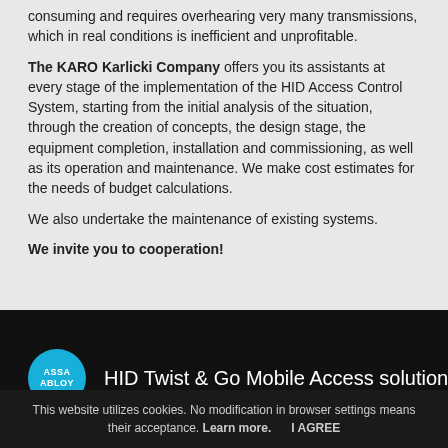consuming and requires overhearing very many transmissions, which in real conditions is inefficient and unprofitable.
The KARO Karlicki Company offers you its assistants at every stage of the implementation of the HID Access Control System, starting from the initial analysis of the situation, through the creation of concepts, the design stage, the equipment completion, installation and commissioning, as well as its operation and maintenance. We make cost estimates for the needs of budget calculations.
We also undertake the maintenance of existing systems.
We invite you to cooperation!
[Figure (screenshot): Dark banner with ASSA ABLOY circular logo in teal/blue and text 'HID Twist & Go Mobile Access solution powered' in white on black background]
This website utilizes cookies. No modification in browser settings means their acceptance. Learn more.    I AGREE